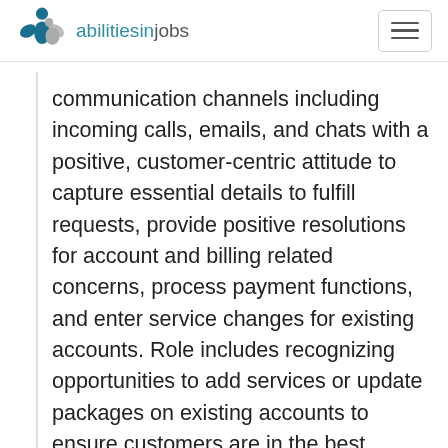abilitiesinjobs
communication channels including incoming calls, emails, and chats with a positive, customer-centric attitude to capture essential details to fulfill requests, provide positive resolutions for account and billing related concerns, process payment functions, and enter service changes for existing accounts. Role includes recognizing opportunities to add services or update packages on existing accounts to ensure customers are in the best package to fit their needs while maintaining positive revenues. In addition, this person is a team player with a passion for assisting others, working with other